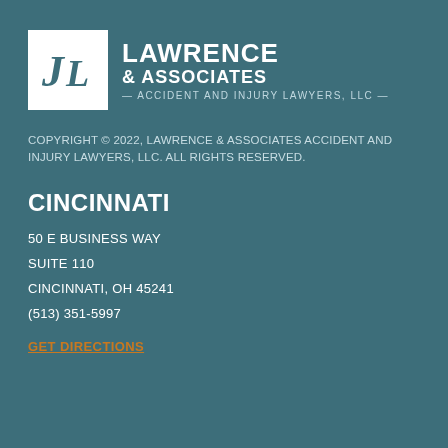[Figure (logo): Lawrence & Associates Accident and Injury Lawyers, LLC logo with JL monogram in white box and firm name text]
COPYRIGHT © 2022, LAWRENCE & ASSOCIATES ACCIDENT AND INJURY LAWYERS, LLC. ALL RIGHTS RESERVED.
CINCINNATI
50 E BUSINESS WAY
SUITE 110
CINCINNATI, OH 45241
(513) 351-5997
GET DIRECTIONS